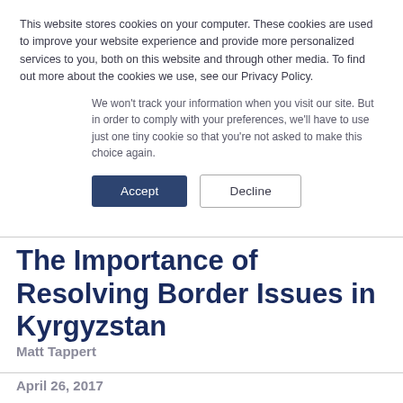This website stores cookies on your computer. These cookies are used to improve your website experience and provide more personalized services to you, both on this website and through other media. To find out more about the cookies we use, see our Privacy Policy.
We won't track your information when you visit our site. But in order to comply with your preferences, we'll have to use just one tiny cookie so that you're not asked to make this choice again.
Accept
Decline
The Importance of Resolving Border Issues in Kyrgyzstan
Matt Tappert
April 26, 2017